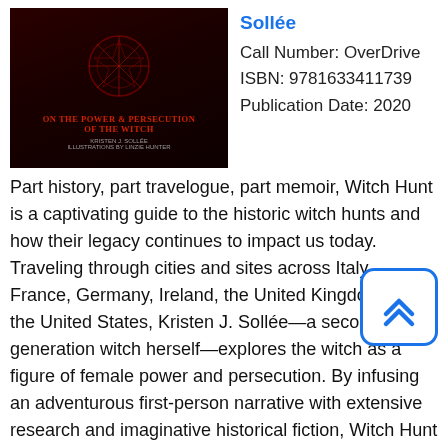[Figure (illustration): Book cover for 'Witch Hunt' showing dark red cover with occult symbol and text]
Sollée
Call Number: OverDrive
ISBN: 9781633411739
Publication Date: 2020
Part history, part travelogue, part memoir, Witch Hunt is a captivating guide to the historic witch hunts and how their legacy continues to impact us today. Traveling through cities and sites across Italy, France, Germany, Ireland, the United Kingdom, and the United States, Kristen J. Sollée—a second-generation witch herself—explores the witch as a figure of female power and persecution. By infusing an adventurous first-person narrative with extensive research and imaginative historical fiction, Witch Hunt captures the magic of travel to make an often-overlooked period of history come alive. Between the 15th-17th centuries, a confluence of political, economic, and religious factors inspired witch hysteria to ignite like wildfire across Europe, and, later, parts of America. At the heart of the witch hunts were often dangerous misconceptions about femininity and female sexuality, and women were disproportionately punished as a result. Today, this lineage of oppression remains an